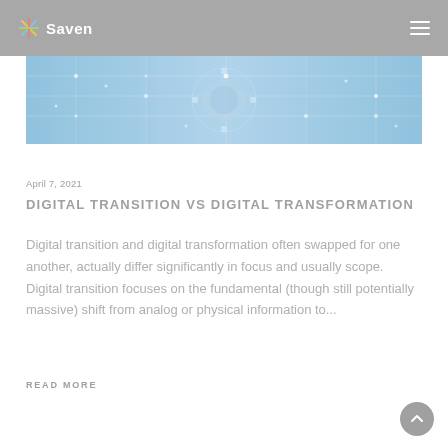Saven
[Figure (illustration): Hero banner image showing a digital/technology circuit board and brain visualization in blue tones]
April 7, 2021
DIGITAL TRANSITION VS DIGITAL TRANSFORMATION
Digital transition and digital transformation often swapped for one another, actually differ significantly in focus and usually scope. Digital transition focuses on the fundamental (though still potentially massive) shift from analog or physical information to...
READ MORE